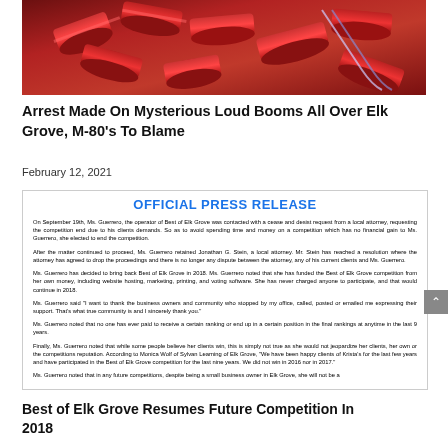[Figure (photo): Photo of red cylindrical M-80 fireworks/firecrackers piled together with fuses visible]
Arrest Made On Mysterious Loud Booms All Over Elk Grove, M-80's To Blame
February 12, 2021
OFFICIAL PRESS RELEASE
On September 19th, Ms. Guerrero, the operator of Best of Elk Grove was contacted with a cease and desist request from a local attorney, requesting the competition end due to his clients demands. So as to avoid spending time and money on a competition which has no financial gain to Ms. Guerrero, she elected to end the competition.
After the matter continued to proceed, Ms. Guerrero retained Jonathan G. Stein, a local attorney. Mr. Stein has reached a resolution where the attorney has agreed to drop the proceedings and there is no longer any dispute between the attorney, any of his current clients and Ms. Guerrero.
Ms. Guerrero has decided to bring back Best of Elk Grove in 2018. Ms. Guerrero noted that she has funded the Best of Elk Grove competition from her own money, including website hosting, marketing, printing, and voting software. She has never charged anyone to participate, and that would continue in 2018.
Ms. Guerrero said "I want to thank the business owners and community who stopped by my office, called, posted or emailed me expressing their support. That's what true community is and I sincerely thank you."
Ms. Guerrero noted that no one has ever paid to receive a certain ranking or end up in a certain position in the final rankings at anytime in the last 9 years.
Finally, Ms. Guerrero noted that while some people believe her clients win, this is simply not true as she would not jeopardize her clients, her own or the competitions reputation. According to Monica Wolf of Sylvan Learning of Elk Grove, "We have been happy clients of Krista's for the last few years and have participated in the Best of Elk Grove competition for the last nine years. We did not win in 2016 nor in 2017."
Ms. Guerrero noted that in any future competitions, despite being a small business owner in Elk Grove, she will not be a
Best of Elk Grove Resumes Future Competition In 2018